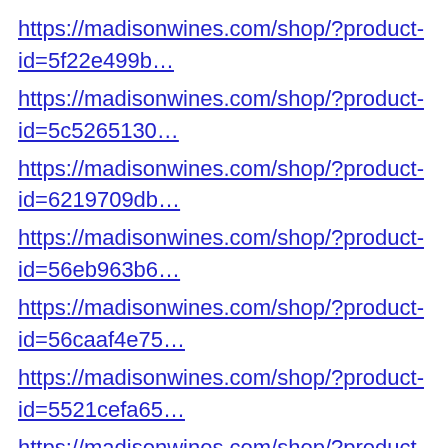https://madisonwines.com/shop/?product-id=5f22e499b…
https://madisonwines.com/shop/?product-id=5c5265130…
https://madisonwines.com/shop/?product-id=6219709db…
https://madisonwines.com/shop/?product-id=56eb963b6…
https://madisonwines.com/shop/?product-id=56caaf4e75…
https://madisonwines.com/shop/?product-id=5521cefa65…
https://madisonwines.com/shop/?product-id=5521cef86…
https://madisonwines.com/shop/?type=Beer&country=C…
https://madisonwines.com/shop/?product-id=56c290db7…
https://madisonwines.com/shop/?product-id=564bd7d26…
https://madisonwines.com/shop/?product-id=582ddbe6b…